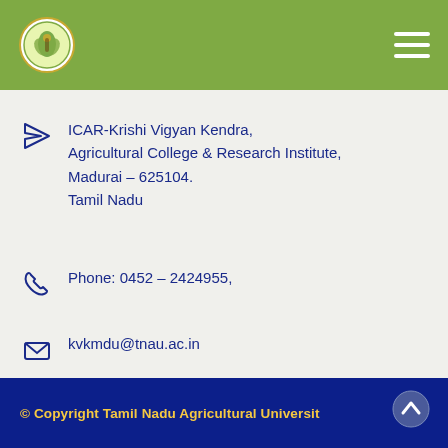ICAR-Krishi Vigyan Kendra - Tamil Nadu Agricultural University
ICAR-Krishi Vigyan Kendra, Agricultural College & Research Institute, Madurai – 625104. Tamil Nadu
Phone: 0452 – 2424955,
kvkmdu@tnau.ac.in
© Copyright Tamil Nadu Agricultural Universit